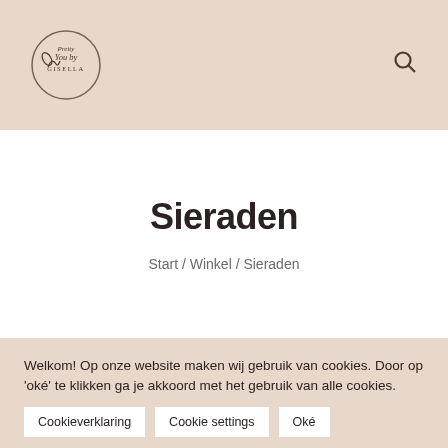Pretty You by Gisella — header with logo and search icon
Sieraden
Start / Winkel / Sieraden
Welkom! Op onze website maken wij gebruik van cookies. Door op 'oké' te klikken ga je akkoord met het gebruik van alle cookies.
Cookieverklaring
Cookie settings
Oké